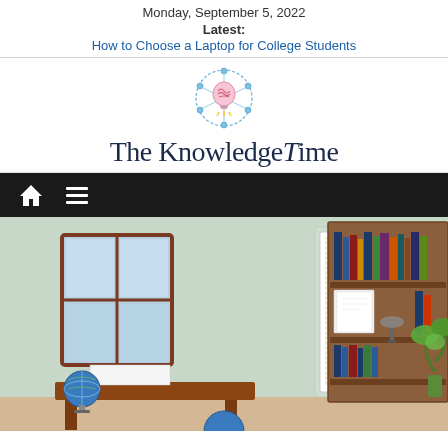Monday, September 5, 2022
Latest:
How to Choose a Laptop for College Students
[Figure (logo): The Knowledge Time logo with brain lightbulb icon and serif/script wordmark]
[Figure (illustration): Educational classroom illustration showing a desk with globe and paper, a certificate/diploma reading 'Congratulations! The Knowledge Time - Google Ads Display Certification' with gold badge, and a wooden bookshelf with books and a plant]